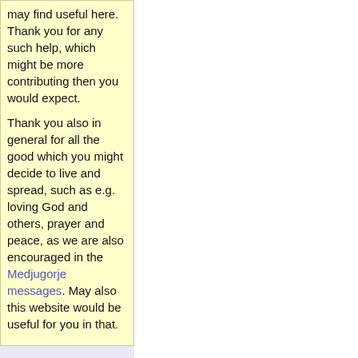may find useful here. Thank you for any such help, which might be more contributing then you would expect.
Thank you also in general for all the good which you might decide to live and spread, such as e.g. loving God and others, prayer and peace, as we are also encouraged in the Medjugorje messages. May also this website would be useful for you in that.